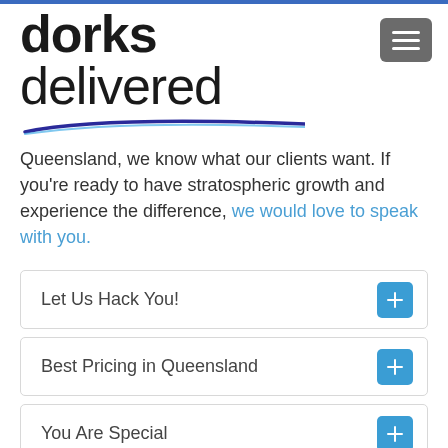[Figure (logo): Dorks Delivered logo with bold 'dorks' and regular 'delivered' text, with a blue arc underline]
Queensland, we know what our clients want. If you're ready to have stratospheric growth and experience the difference, we would love to speak with you.
Let Us Hack You!
Best Pricing in Queensland
You Are Special
The Difference
Still Not Convinced?